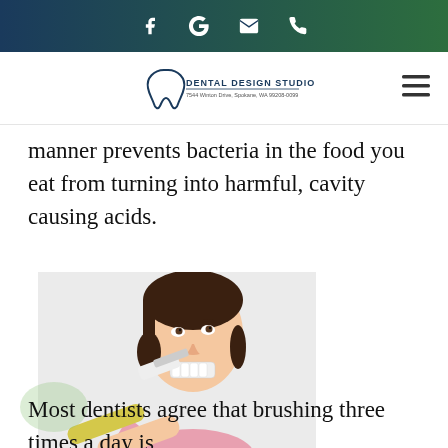f G ✉ ☎
[Figure (logo): Dental Design Studio logo with tooth icon and address]
manner prevents bacteria in the food you eat from turning into harmful, cavity causing acids.
[Figure (photo): Woman brushing her teeth with a yellow toothbrush, looking upward, on light gray background]
Most dentists agree that brushing three times a day is